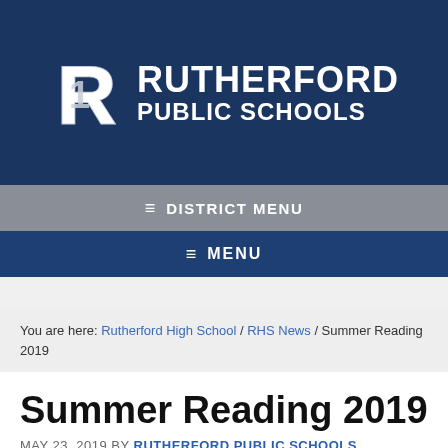[Figure (logo): Rutherford Public Schools logo with stylized R and school name on dark blue background]
≡ DISTRICT MENU
≡ MENU
You are here: Rutherford High School / RHS News / Summer Reading 2019
Summer Reading 2019
MAY 23, 2019 BY RUTHERFORD PUBLIC SCHOOLS